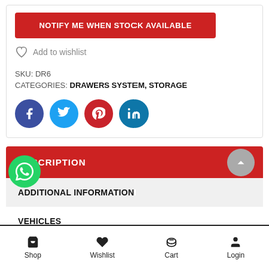NOTIFY ME WHEN STOCK AVAILABLE
Add to wishlist
SKU: DR6
CATEGORIES: DRAWERS SYSTEM, STORAGE
[Figure (infographic): Social share icons: Facebook (dark blue), Twitter (light blue), Pinterest (red), LinkedIn (teal blue)]
DESCRIPTION
ADDITIONAL INFORMATION
VEHICLES
[Figure (infographic): WhatsApp floating chat button (green circle with WhatsApp logo)]
Shop  Wishlist  Cart  Login